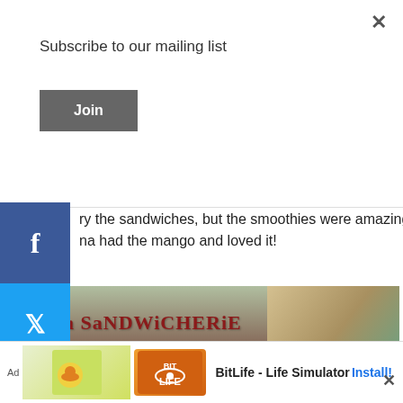Subscribe to our mailing list
Join
ry the sandwiches, but the smoothies were amazing. na had the mango and loved it!
[Figure (photo): Photo of La Sandwicherie restaurant exterior with crowd of people outside]
[Figure (photo): Photo of a young blonde girl drinking a smoothie through a straw]
Ad
BitLife - Life Simulator
Install!